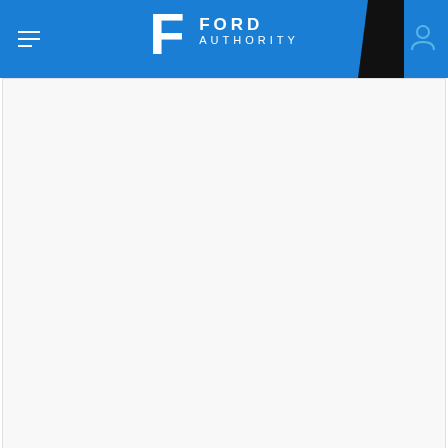Ford Authority
[Figure (other): Advertisement placeholder area — blank white/light gray box]
By Brett Foote
Brett's lost track of all the Fords he's owned over the years and how much he's spent modifying them, but his current money pits include an S550 Mustang and 13th gen F-150.
Subscribe to Ford